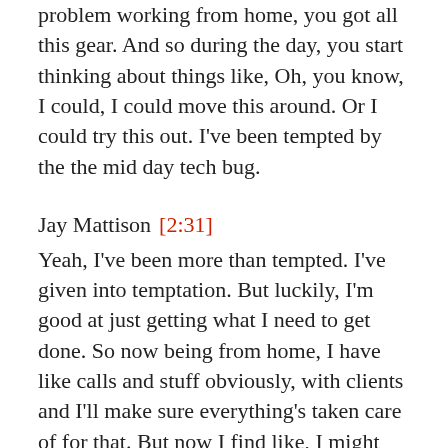problem working from home, you got all this gear. And so during the day, you start thinking about things like, Oh, you know, I could, I could move this around. Or I could try this out. I've been tempted by the the mid day tech bug.
Jay Mattison [2:31] Yeah, I've been more than tempted. I've given into temptation. But luckily, I'm good at just getting what I need to get done. So now being from home, I have like calls and stuff obviously, with clients and I'll make sure everything's taken care of for that. But now I find like, I might stop working at like three and then come back at seven. And do you know, I mean, some things that I wouldn't normally have done when I was going into the office every day but so you're just pivoting